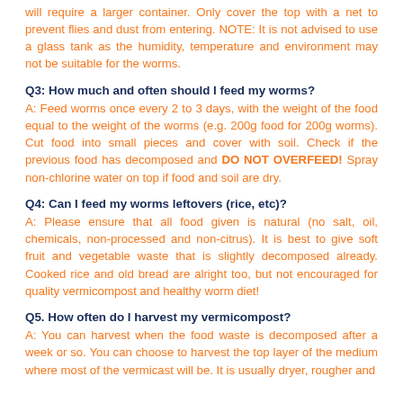will require a larger container. Only cover the top with a net to prevent flies and dust from entering. NOTE: It is not advised to use a glass tank as the humidity, temperature and environment may not be suitable for the worms.
Q3: How much and often should I feed my worms?
A: Feed worms once every 2 to 3 days, with the weight of the food equal to the weight of the worms (e.g. 200g food for 200g worms). Cut food into small pieces and cover with soil. Check if the previous food has decomposed and DO NOT OVERFEED! Spray non-chlorine water on top if food and soil are dry.
Q4: Can I feed my worms leftovers (rice, etc)?
A: Please ensure that all food given is natural (no salt, oil, chemicals, non-processed and non-citrus). It is best to give soft fruit and vegetable waste that is slightly decomposed already. Cooked rice and old bread are alright too, but not encouraged for quality vermicompost and healthy worm diet!
Q5. How often do I harvest my vermicompost?
A: You can harvest when the food waste is decomposed after a week or so. You can choose to harvest the top layer of the medium where most of the vermicast will be. It is usually dryer, rougher and